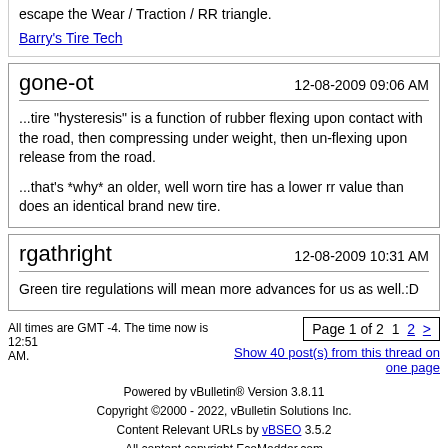escape the Wear / Traction / RR triangle.
Barry's Tire Tech
gone-ot   12-08-2009 09:06 AM
...tire "hysteresis" is a function of rubber flexing upon contact with the road, then compressing under weight, then un-flexing upon release from the road.

...that's *why* an older, well worn tire has a lower rr value than does an identical brand new tire.
rgathright   12-08-2009 10:31 AM
Green tire regulations will mean more advances for us as well.:D
All times are GMT -4. The time now is 12:51 AM.
Page 1 of 2  1  2  >
Show 40 post(s) from this thread on one page
Powered by vBulletin® Version 3.8.11
Copyright ©2000 - 2022, vBulletin Solutions Inc.
Content Relevant URLs by vBSEO 3.5.2
All content copyright EcoModder.com